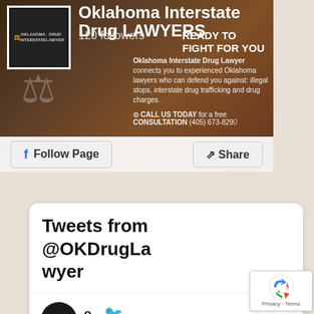[Figure (screenshot): Facebook page banner for Oklahoma Interstate Drug Lawyer showing logo, 120 followers, tagline 'LAWYERS READY TO FIGHT FOR YOU', description text, call to action, Follow Page button and Share button]
Tweets from @OKDrugLawyer
[Figure (screenshot): Twitter tweet from O.. account dated Nov 15, 20xx: 'Blaine County OK Prescription Drugs Lawyer ift.tt/2K3OkJb' with a link preview card showing a document icon]
[Figure (logo): Google reCAPTCHA badge with Privacy and Terms text]